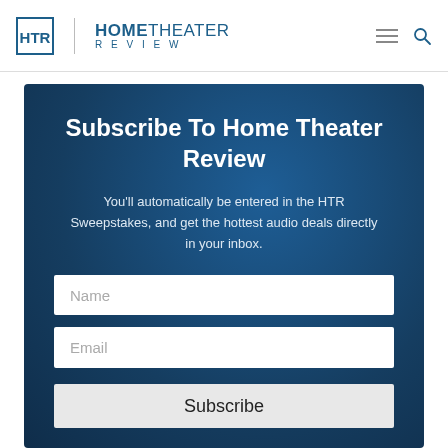HomeTheater Review
Subscribe To Home Theater Review
You'll automatically be entered in the HTR Sweepstakes, and get the hottest audio deals directly in your inbox.
Name
Email
Subscribe